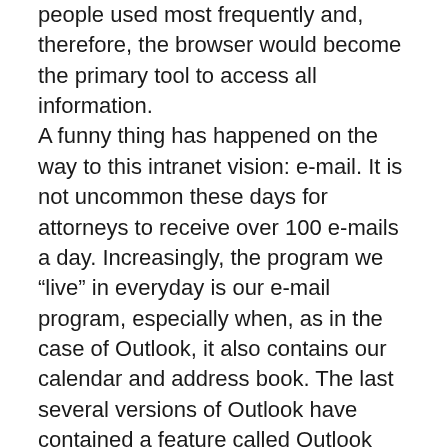people used most frequently and, therefore, the browser would become the primary tool to access all information. A funny thing has happened on the way to this intranet vision: e-mail. It is not uncommon these days for attorneys to receive over 100 e-mails a day. Increasingly, the program we “live” in everyday is our e-mail program, especially when, as in the case of Outlook, it also contains our calendar and address book. The last several versions of Outlook have contained a feature called Outlook Today, a simple start page that gives you summary information about and access to your e-mail inbox, a week’s view of your calendar and a list of today’s tasks. Generally, the reaction of Outlook Today users is